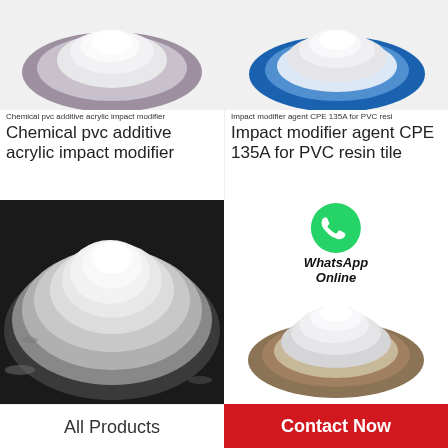[Figure (photo): White powder on a gray/purple plate - Chemical pvc additive acrylic impact modifier]
Chemical pvc additive acrylic impact modifier
Chemical pvc additive acrylic impact modifier
[Figure (photo): White powder on a blue plate - Impact modifier agent CPE 135A for PVC resin tile]
Impact modifier agent CPE 135A for PVC resin tile
Impact modifier agent CPE 135A for PVC resin tile
[Figure (photo): White powder scattered on dark background (bottom left product image)]
[Figure (photo): White powder on a brown/tan plate with WhatsApp Online overlay (bottom right product image)]
WhatsApp Online
All Products
Contact Now